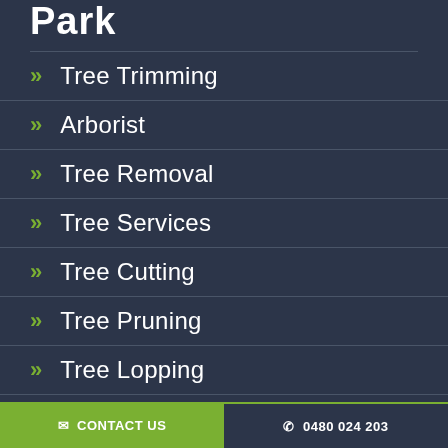Park
Tree Trimming
Arborist
Tree Removal
Tree Services
Tree Cutting
Tree Pruning
Tree Lopping
✉ CONTACT US   ✆ 0480 024 203